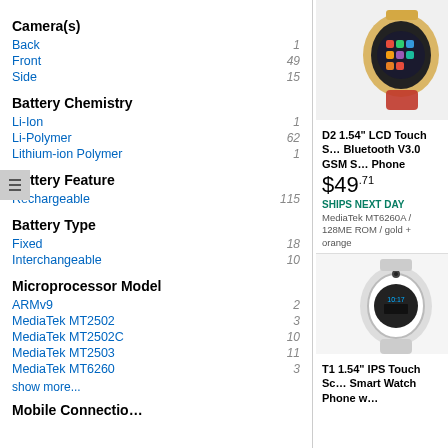Camera(s)
Back  1
Front  49
Side  15
Battery Chemistry
Li-Ion  1
Li-Polymer  62
Lithium-ion Polymer  1
Battery Feature
Rechargeable  115
Battery Type
Fixed  18
Interchangeable  10
Microprocessor Model
ARMv9  2
MediaTek MT2502  3
MediaTek MT2502C  10
MediaTek MT2503  11
MediaTek MT6260  3
show more...
Mobile Connectio…
[Figure (photo): Smart watch product photo - gold/orange color, shown on right panel top]
D2 1.54" LCD Touch S… Bluetooth V3.0 GSM S… Phone
$49.71
SHIPS NEXT DAY
MediaTek MT6260A / 128ME ROM / gold + orange
[Figure (photo): Smart watch product photo - white/silver color, shown on right panel bottom]
T1 1.54" IPS Touch Sc… Smart Watch Phone w…